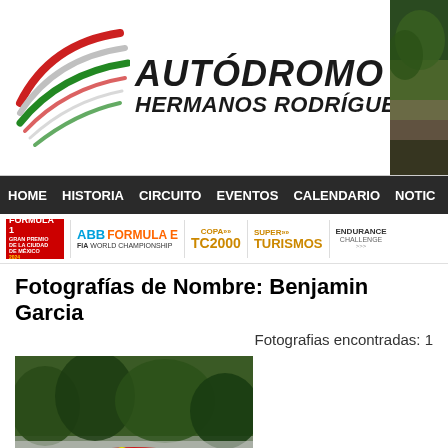[Figure (logo): Autódromo Hermanos Rodríguez logo with swoosh lines in red, white, and green (Mexican flag colors) and bold italic text]
HOME  HISTORIA  CIRCUITO  EVENTOS  CALENDARIO  NOTIC
[Figure (infographic): Sponsors bar with logos: Formula 1 Gran Premio de la Ciudad de México, ABB Formula E FIA World Championship, Copa TC2000, Super Turismos, Endurance Challenge]
Fotografías de Nombre: Benjamin Garcia
Fotografias encontradas: 1
[Figure (photo): Racing car (red Formula-style car) on track, photograph thumbnail]
Copa Corona
Ver fotografías por